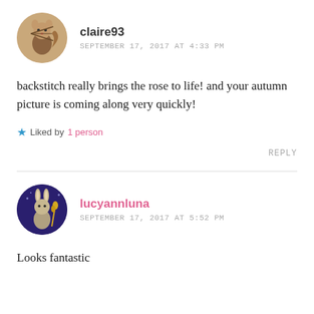[Figure (illustration): Circular avatar with illustrated animal character (squirrel with bow) on beige/tan background]
claire93
SEPTEMBER 17, 2017 AT 4:33 PM
backstitch really brings the rose to life! and your autumn picture is coming along very quickly!
Liked by 1 person
REPLY
[Figure (illustration): Circular avatar with illustrated rabbit/hare on dark purple/navy background]
lucyannluna
SEPTEMBER 17, 2017 AT 5:52 PM
Looks fantastic